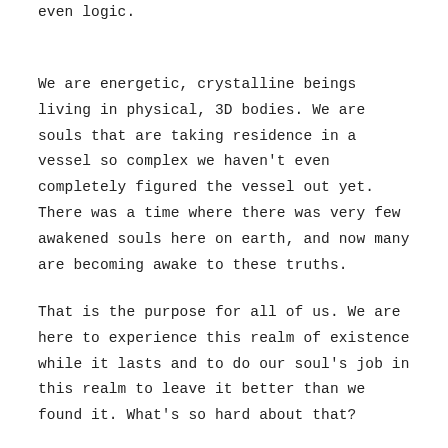…because love is the basis of everything, even logic.
We are energetic, crystalline beings living in physical, 3D bodies. We are souls that are taking residence in a vessel so complex we haven't even completely figured the vessel out yet. There was a time where there was very few awakened souls here on earth, and now many are becoming awake to these truths.
That is the purpose for all of us. We are here to experience this realm of existence while it lasts and to do our soul's job in this realm to leave it better than we found it. What's so hard about that?